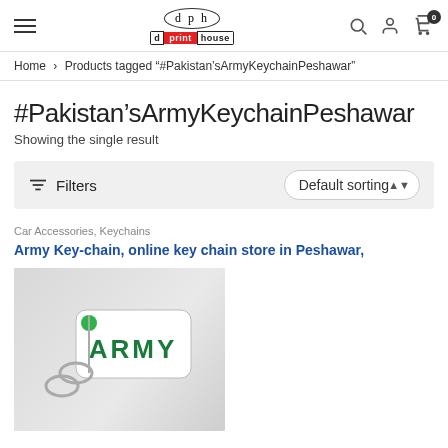d print house — navigation header with logo, search, account, and cart icons
Home > Products tagged "#Pakistan'sArmyKeychainPeshawar"
#Pakistan'sArmyKeychainPeshawar
Showing the single result
Filters   Default sorting
Car Accessories, Keychains
Army Key-chain, online key chain store in Peshawar,
[Figure (photo): Photo of a white rectangular keychain tag with 'ARMY' text in green block letters, with a green rubber bead and metal key ring attachment, on a light grey background.]